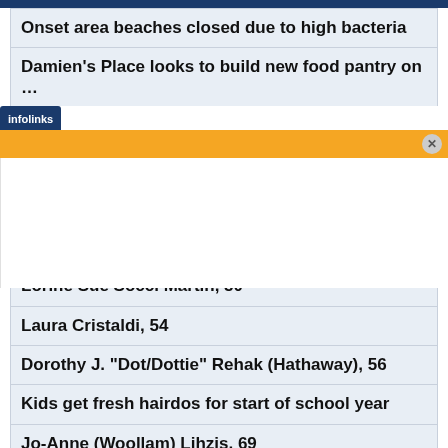Onset area beaches closed due to high bacteria
Damien's Place looks to build new food pantry on …
Byron Frates, 38
Board of Selectmen recommends Town Administ…
Public safety building search narrowed to two sites
Lorine Sue Socci Martin, 50
Laura Cristaldi, 54
Dorothy J. "Dot/Dottie" Rehak (Hathaway), 56
Kids get fresh hairdos for start of school year
Jo-Anne (Woollam) Lihzis, 69
[Figure (screenshot): Infolinks advertisement bar with orange background and close button]